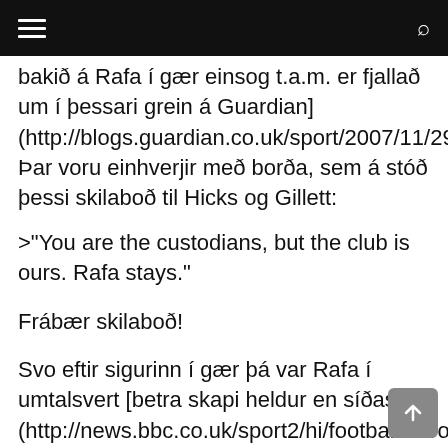[hamburger menu] [search icon]
bakið á Rafa í gær einsog t.a.m. er fjallað um í þessari grein á Guardian] (http://blogs.guardian.co.uk/sport/2007/11/29/benitez_makes_his_point_but_ow.html). Þar voru einhverjir með borða, sem á stóð þessi skilaboð til Hicks og Gillett:
>"You are the custodians, but the club is ours. Rafa stays."
Frábær skilaboð!
Svo eftir sigurinn í gær þá var Rafa í umtalsvert [betra skapi heldur en síðast] (http://news.bbc.co.uk/sport2/hi/football/europe/711